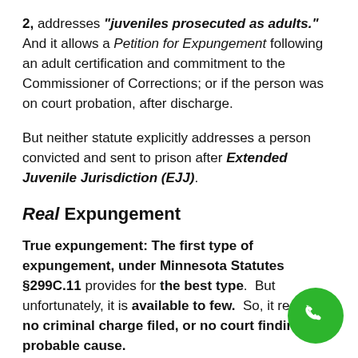2, addresses "juveniles prosecuted as adults." And it allows a Petition for Expungement following an adult certification and commitment to the Commissioner of Corrections; or if the person was on court probation, after discharge.
But neither statute explicitly addresses a person convicted and sent to prison after Extended Juvenile Jurisdiction (EJJ).
Real Expungement
True expungement: The first type of expungement, under Minnesota Statutes §299C.11 provides for the best type. But unfortunately, it is available to few. So, it requires no criminal charge filed, or no court finding of probable cause.
But for those who do qualify, the expungement the returns of...